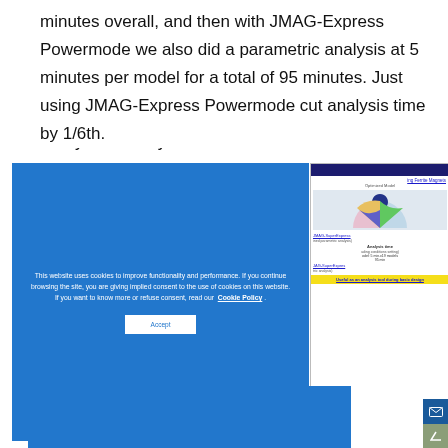minutes overall, and then with JMAG-Express Powermode we also did a parametric analysis at 5 minutes per model for a total of 95 minutes. Just using JMAG-Express Powermode cut analysis time by 1/6th.
[Figure (screenshot): Cookie consent overlay on a webpage showing a JMAG-SuperExpress slide. The blue cookie notice reads: 'This website uses cookies to improve functionality and performance. If you continue browsing the site, you are giving implied consent to the use of cookies on this website. If you want to know more or refuse consent, read our Cookie Policy.' with an Accept button. Behind the overlay is a partially visible slide about Ferrite Magnets showing an optimized model diagram, analysis time details (5 min x19 models = 95 min), and a yellow bar reading 'Useful as an analysis tool during basic design'.]